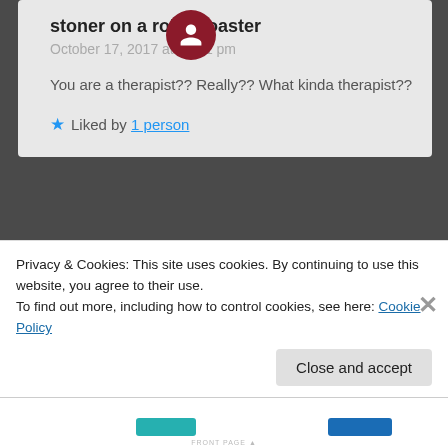stoner on a rollercoaster
October 17, 2017 at 10:11 pm

You are a therapist?? Really?? What kinda therapist??

★ Liked by 1 person
sonofabeach96
October 17, 2017 at 10:29 pm

Yes ma'am. I'm an Occupational Therapist in a
Privacy & Cookies: This site uses cookies. By continuing to use this website, you agree to their use.
To find out more, including how to control cookies, see here: Cookie Policy
Close and accept